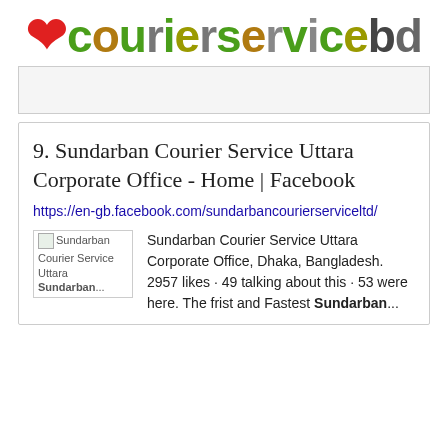[Figure (logo): ecourierservicebd logo with colored letters and a red heart/anchor icon]
9. Sundarban Courier Service Uttara Corporate Office - Home | Facebook
https://en-gb.facebook.com/sundarbancourierserviceltd/
Sundarban Courier Service Uttara Corporate Office, Dhaka, Bangladesh. 2957 likes · 49 talking about this · 53 were here. The frist and Fastest Sundarban...